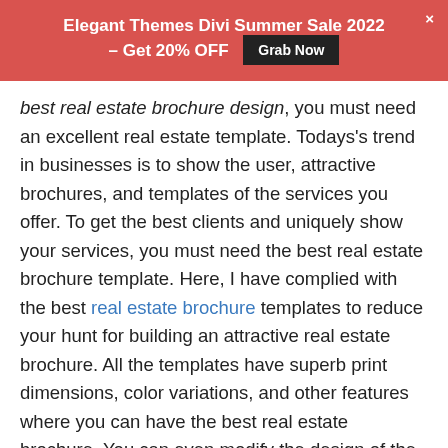Elegant Themes Divi Summer Sale 2022 – Get 20% OFF [Grab Now] ×
best real estate brochure design, you must need an excellent real estate template. Todays's trend in businesses is to show the user, attractive brochures, and templates of the services you offer. To get the best clients and uniquely show your services, you must need the best real estate brochure template. Here, I have complied with the best real estate brochure templates to reduce your hunt for building an attractive real estate brochure. All the templates have superb print dimensions, color variations, and other features where you can have the best real estate brochure. You can even modify the design of the template design to be in touch with the latest trends. Don't forget, the better you show the services you offer attractively the best you can fetch the work.